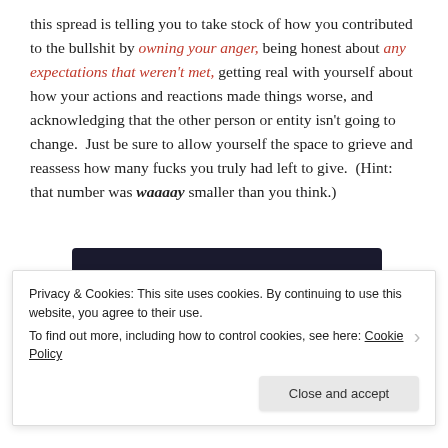this spread is telling you to take stock of how you contributed to the bullshit by owning your anger, being honest about any expectations that weren't met, getting real with yourself about how your actions and reactions made things worse, and acknowledging that the other person or entity isn't going to change.  Just be sure to allow yourself the space to grieve and reassess how many fucks you truly had left to give.  (Hint: that number was waaaay smaller than you think.)
[Figure (screenshot): Dark navy advertisement banner with a teal 'Learn More' rounded button on the left side]
Privacy & Cookies: This site uses cookies. By continuing to use this website, you agree to their use.
To find out more, including how to control cookies, see here: Cookie Policy
Close and accept